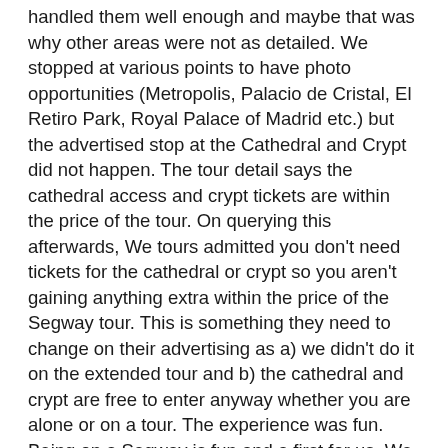handled them well enough and maybe that was why other areas were not as detailed. We stopped at various points to have photo opportunities (Metropolis, Palacio de Cristal, El Retiro Park, Royal Palace of Madrid etc.) but the advertised stop at the Cathedral and Crypt did not happen. The tour detail says the cathedral access and crypt tickets are within the price of the tour. On querying this afterwards, We tours admitted you don't need tickets for the cathedral or crypt so you aren't gaining anything extra within the price of the Segway tour. This is something they need to change on their advertising as a) we didn't do it on the extended tour and b) the cathedral and crypt are free to enter anyway whether you are alone or on a tour. The experience was fun. Being on a Segway is fun and a first for us. We had helmets provided but no water (as advertised). There are other tour providers who offer Segway tours and they appear a little more together, as in helmeted with fluro vest, which adds to the feeling that safety is paramount when in a very busy city on main roads. A nice touch at the end of the tour is a glass of bubbles before departing into the bustling streets of a city that keeps giving.